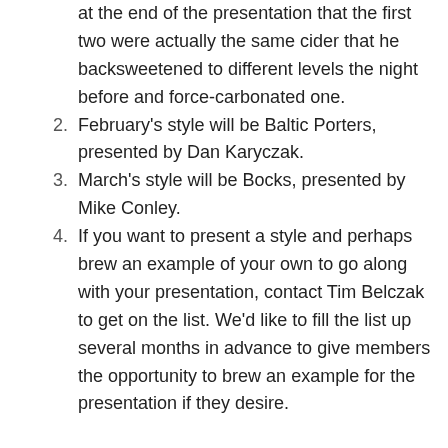at the end of the presentation that the first two were actually the same cider that he backsweetened to different levels the night before and force-carbonated one.
February's style will be Baltic Porters, presented by Dan Karyczak.
March's style will be Bocks, presented by Mike Conley.
If you want to present a style and perhaps brew an example of your own to go along with your presentation, contact Tim Belczak to get on the list. We'd like to fill the list up several months in advance to give members the opportunity to brew an example for the presentation if they desire.
Meeting was adjourned and we shared some delicious homebrew with one another.